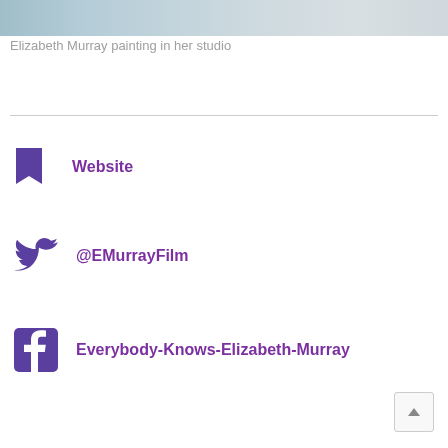[Figure (photo): Partial photo of Elizabeth Murray painting in her studio — top strip visible]
Elizabeth Murray painting in her studio
Website
@EMurrayFilm
Everybody-Knows-Elizabeth-Murray